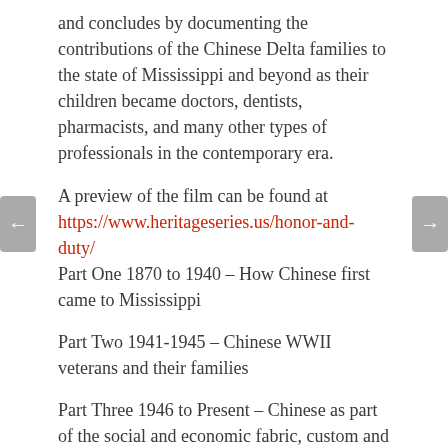and concludes by documenting the contributions of the Chinese Delta families to the state of Mississippi and beyond as their children became doctors, dentists, pharmacists, and many other types of professionals in the contemporary era.
A preview of the film can be found at https://www.heritageseries.us/honor-and-duty/
Part One 1870 to 1940 – How Chinese first came to Mississippi
Part Two 1941-1945 – Chinese WWII veterans and their families
Part Three 1946 to Present – Chinese as part of the social and economic fabric, custom and culture of Mississippi.
This is an excellent documentary for adults and older kids (middle schoolers and above). Come to learn our